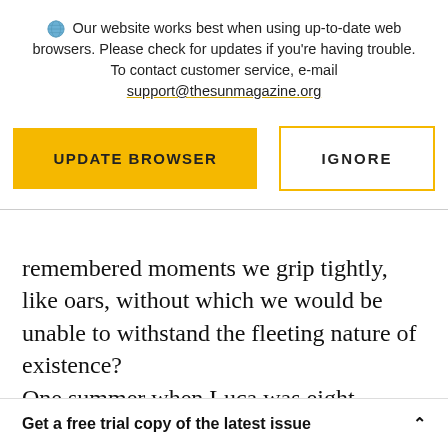Our website works best when using up-to-date web browsers. Please check for updates if you're having trouble. To contact customer service, e-mail support@thesunmagazine.org
[Figure (screenshot): Two buttons: a yellow filled 'UPDATE BROWSER' button and a yellow-outlined 'IGNORE' button]
remembered moments we grip tightly, like oars, without which we would be unable to withstand the fleeting nature of existence?
One summer when Luca was eight months old
Get a free trial copy of the latest issue